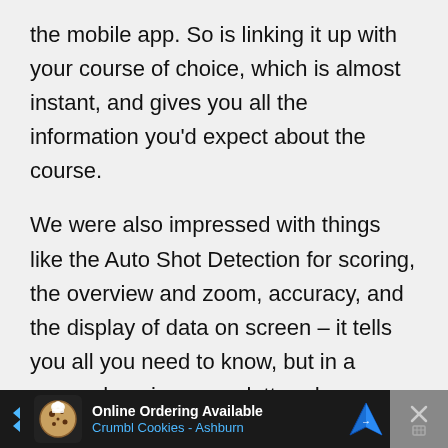the mobile app. So is linking it up with your course of choice, which is almost instant, and gives you all the information you'd expect about the course.
We were also impressed with things like the Auto Shot Detection for scoring, the overview and zoom, accuracy, and the display of data on screen – it tells you all you need to know, but in a comprehensive, non-cluttered way. Who needs a big screen, eh?
[Figure (other): Advertisement banner: Online Ordering Available – Crumbl Cookies - Ashburn, with navigation icon and close button]